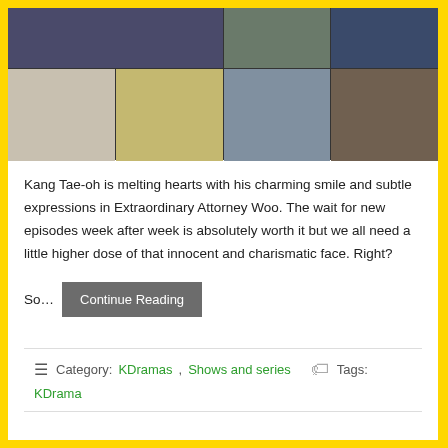[Figure (photo): Collage of Korean drama scenes and actors including scenes from various K-dramas with multiple actors in different settings]
Kang Tae-oh is melting hearts with his charming smile and subtle expressions in Extraordinary Attorney Woo. The wait for new episodes week after week is absolutely worth it but we all need a little higher dose of that innocent and charismatic face. Right?
So… Continue Reading
Category: KDramas, Shows and series   Tags: KDrama